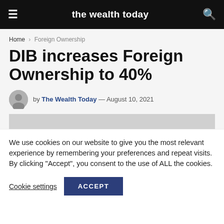the wealth today
Home › Foreign Ownership
DIB increases Foreign Ownership to 40%
by The Wealth Today — August 10, 2021
We use cookies on our website to give you the most relevant experience by remembering your preferences and repeat visits. By clicking "Accept", you consent to the use of ALL the cookies.
Cookie settings   ACCEPT